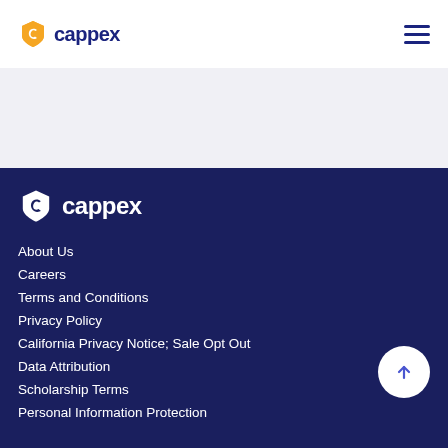cappex
[Figure (logo): Cappex logo with orange C shield icon and dark blue 'cappex' wordmark in header]
[Figure (logo): Cappex logo with white C shield icon and white 'cappex' wordmark in footer]
About Us
Careers
Terms and Conditions
Privacy Policy
California Privacy Notice; Sale Opt Out
Data Attribution
Scholarship Terms
Personal Information Protection